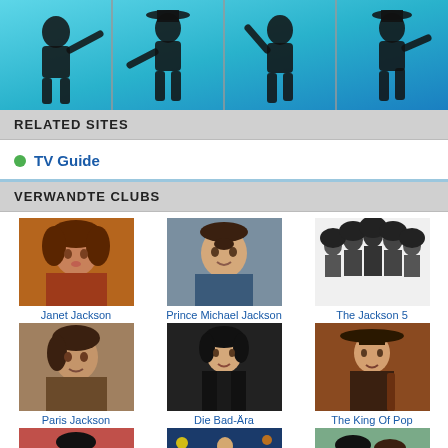[Figure (photo): Header strip with four silhouetted figures of a performer against a cyan/blue background]
RELATED SITES
TV Guide
VERWANDTE CLUBS
[Figure (photo): Janet Jackson portrait photo]
Janet Jackson
[Figure (photo): Prince Michael Jackson portrait photo]
Prince Michael Jackson
[Figure (photo): The Jackson 5 group black and white photo]
The Jackson 5
[Figure (photo): Paris Jackson portrait photo]
Paris Jackson
[Figure (photo): Die Bad-Ära photo of Michael Jackson]
Die Bad-Ära
[Figure (photo): The King Of Pop photo]
The King Of Pop
[Figure (photo): The Thriller Era photo]
The Thriller Era
[Figure (photo): MJ's This is it photo]
MJ's This is it
[Figure (photo): the jackson 3 photo]
the jackson 3
Mehr Clubs >>